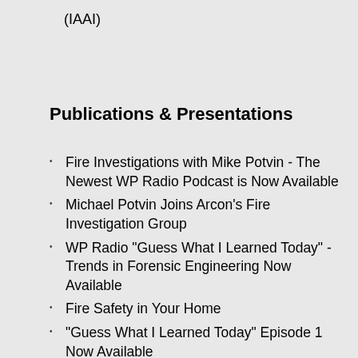(IAAI)
Publications & Presentations
Fire Investigations with Mike Potvin - The Newest WP Radio Podcast is Now Available
Michael Potvin Joins Arcon's Fire Investigation Group
WP Radio "Guess What I Learned Today" - Trends in Forensic Engineering Now Available
Fire Safety in Your Home
"Guess What I Learned Today" Episode 1 Now Available
Forensic Engineering Services Program for Farm Mutuals